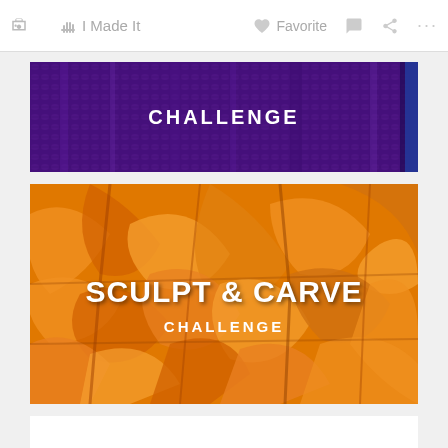I Made It  Favorite  ... (share icons)
[Figure (photo): Purple knitted fabric texture with white text reading 'CHALLENGE' in the center]
[Figure (photo): Orange carved pumpkin or sculptural texture with white text reading 'SCULPT & CARVE CHALLENGE' in the center]
[Figure (photo): Partial white card area visible at bottom]